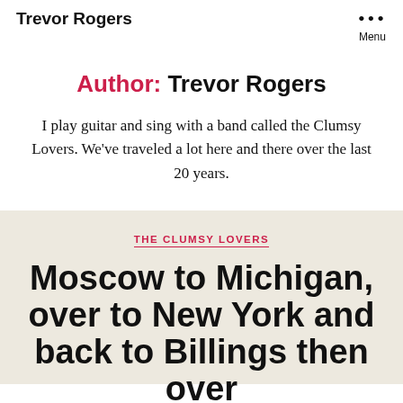Trevor Rogers  ••• Menu
Author: Trevor Rogers
I play guitar and sing with a band called the Clumsy Lovers. We've traveled a lot here and there over the last 20 years.
THE CLUMSY LOVERS
Moscow to Michigan, over to New York and back to Billings then over